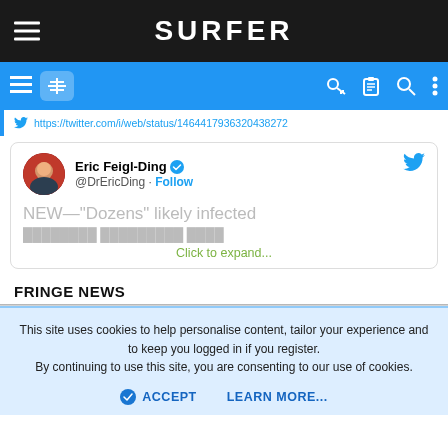SURFER
https://twitter.com/i/web/status/1464417936320438272
[Figure (screenshot): Embedded tweet card from Eric Feigl-Ding (@DrEricDing) with verified badge, showing partial tweet text: NEW—"Dozens" likely infected, with a Click to expand... link]
FRINGE NEWS
This site uses cookies to help personalise content, tailor your experience and to keep you logged in if you register.
By continuing to use this site, you are consenting to our use of cookies.
ACCEPT    LEARN MORE...